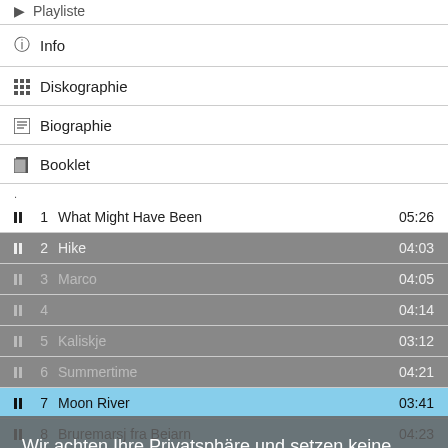Playliste
Info
Diskographie
Biographie
Booklet
1  What Might Have Been  05:26
2  Hike  04:03
3  Marco  04:05
4  [obscured]  04:14
5  Kaliskje  03:12
6  Summertime  04:21
7  Moon River  03:41
8  Bruremarsj fra Beiarn  04:23
9  Free Flow  04:49
Wir achten Ihre Privatsphäre und setzen keine Tracking-Cookies. Wir benutzen nur technisch notwenige Cookies.
Mehr erfahren
OK